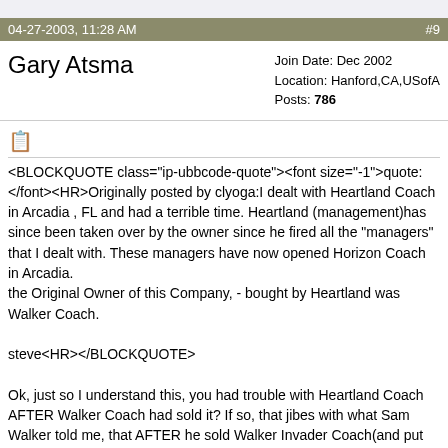04-27-2003, 11:28 AM  #9
Gary Atsma
Join Date: Dec 2002
Location: Hanford,CA,USofA
Posts: 786
<BLOCKQUOTE class="ip-ubbcode-quote"><font size="-1">quote: </font><HR>Originally posted by clyoga:I dealt with Heartland Coach in Arcadia , FL and had a terrible time. Heartland (management)has since been taken over by the owner since he fired all the "managers" that I dealt with. These managers have now opened Horizon Coach in Arcadia.
the Original Owner of this Company, - bought by Heartland was Walker Coach.

steve<HR></BLOCKQUOTE>

Ok, just so I understand this, you had trouble with Heartland Coach AFTER Walker Coach had sold it? If so, that jibes with what Sam Walker told me, that AFTER he sold Walker Invader Coach(and put himself out of the picture) things had gone bad because with the new